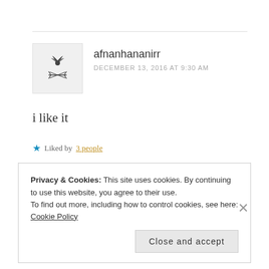afnanhananirr
DECEMBER 13, 2016 AT 9:30 AM
i like it
★ Liked by 3 people
REPLY
Privacy & Cookies: This site uses cookies. By continuing to use this website, you agree to their use.
To find out more, including how to control cookies, see here:
Cookie Policy
Close and accept